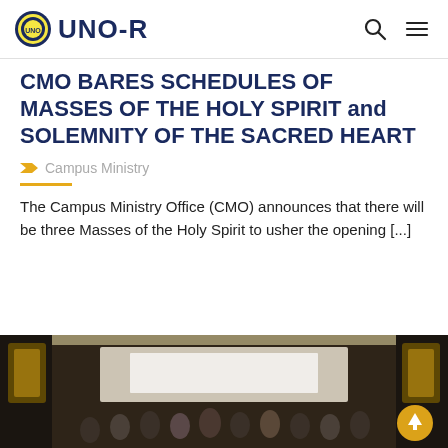UNO-R
CMO BARES SCHEDULES OF MASSES OF THE HOLY SPIRIT and SOLEMNITY OF THE SACRED HEART
Campus Ministry
The Campus Ministry Office (CMO) announces that there will be three Masses of the Holy Spirit to usher the opening [...]
[Figure (photo): Group photo of people gathered indoors at what appears to be a welcome event with decorations and a banner.]